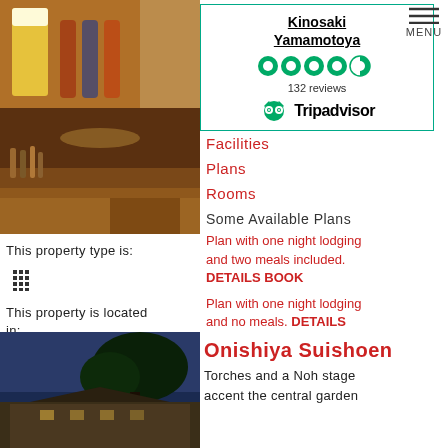[Figure (photo): Beer glass and bottles in warm amber lighting]
[Figure (photo): Bar/lounge interior with warm wood tones and ambient lighting]
This property type is:
[Figure (other): Building/hotel icon (grid of squares)]
This property is located in:
📍 城崎温泉
[Figure (other): Tripadvisor widget box showing Kinosaki Yamamotoya with 4.5 stars, 132 reviews, and Tripadvisor logo]
Facilities
Plans
Rooms
Some Available Plans
Plan with one night lodging and two meals included. DETAILS BOOK
Plan with one night lodging and no meals. DETAILS BOOK
Onishiya Suishoen
[Figure (photo): Traditional Japanese building at dusk with trees silhouetted against blue sky]
Torches and a Noh stage accent the central garden